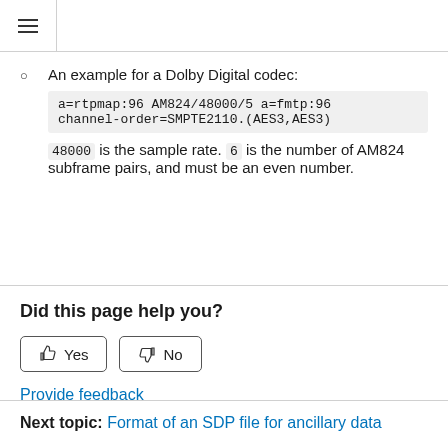≡
An example for a Dolby Digital codec: a=rtpmap:96 AM824/48000/5 a=fmtp:96 channel-order=SMPTE2110.(AES3,AES3) 48000 is the sample rate. 6 is the number of AM824 subframe pairs, and must be an even number.
Did this page help you?
Yes / No feedback buttons
Provide feedback
Next topic: Format of an SDP file for ancillary data